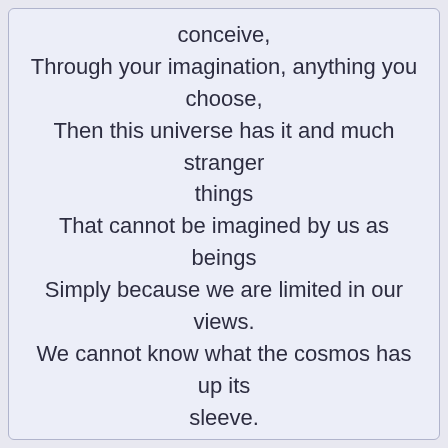conceive,
Through your imagination, anything you choose,
Then this universe has it and much stranger things
That cannot be imagined by us as beings
Simply because we are limited in our views.
We cannot know what the cosmos has up its sleeve.

It has so much potential ours pales in essence
So the concept of eternity we engage
To approximate meaning, but the meaningless
Echoes ever profoundly. So we acquiesce